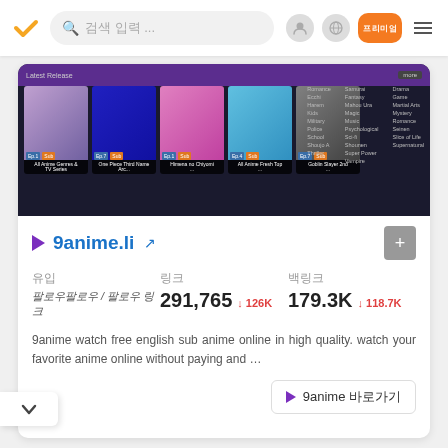검색 입력 ... | 프리미엄 | 메뉴
[Figure (screenshot): Screenshot of 9anime.li website showing Latest Release anime thumbnails with genre sidebar]
9anime.li ↗
| 유입 | 링크 | 백링크 |
| --- | --- | --- |
| 팔로우팔로우 / 팔로우 링크 | 291,765 ↓126K | 179.3K ↓118.7K |
9anime watch free english sub anime online in high quality. watch your favorite anime online without paying and …
▶ 9anime 바로가기